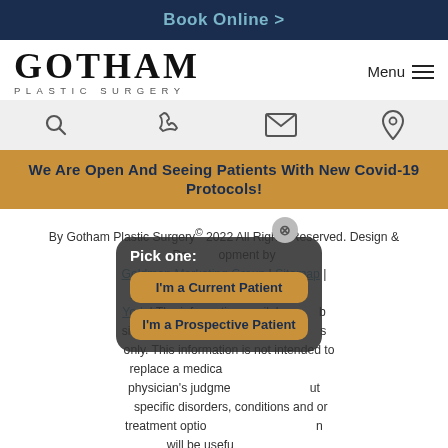Book Online >
[Figure (logo): Gotham Plastic Surgery logo with serif wordmark GOTHAM and subtitle PLASTIC SURGERY]
WE ARE OPEN AND SEEING PATIENTS WITH NEW COVID-19 PROTOCOLS!
By Gotham Plastic Surgery © 2022 All Rights Reserved. Design & Development by Goldman Marketing Group | Sitemap | Privacy Policy | Facial Plastic Surgery New York | The information available on this web site is provided for informational purposes only. This information is not intended to replace a medical consultation with a physician's judgment about the need for specific disorders, conditions and or treatment options. We hope the information will be useful for patients to become more educated about your health care decisions. If you are vision-impaired or have some